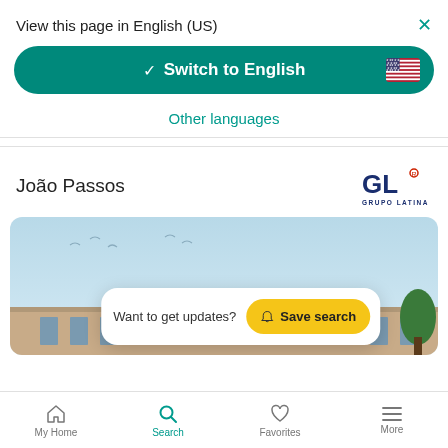View this page in English (US)
Switch to English
Other languages
João Passos
[Figure (logo): GL Grupo Latina logo in dark blue and red]
[Figure (photo): Modern building exterior with light blue sky and birds]
Want to get updates?  Save search
My Home  Search  Favorites  More